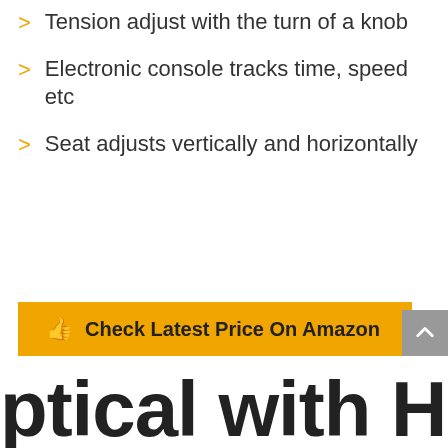Tension adjust with the turn of a knob
Electronic console tracks time, speed etc
Seat adjusts vertically and horizontally
[Figure (other): Yellow button with thumbs up icon: Check Latest Price On Amazon]
ptical with Heart